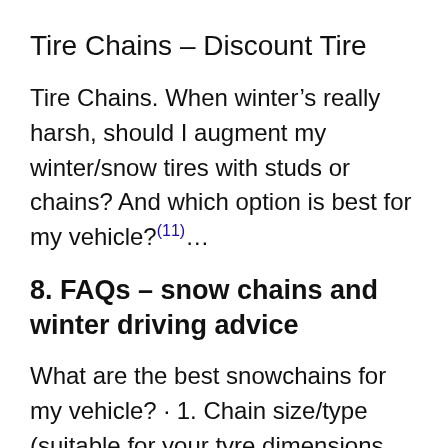Tire Chains – Discount Tire
Tire Chains. When winter's really harsh, should I augment my winter/snow tires with studs or chains? And which option is best for my vehicle?(11)…
8. FAQs – snow chains and winter driving advice
What are the best snowchains for my vehicle? · 1. Chain size/type (suitable for your tyre dimensions and vehicle weight/power); · 2. Clearance – at the back of (12)…